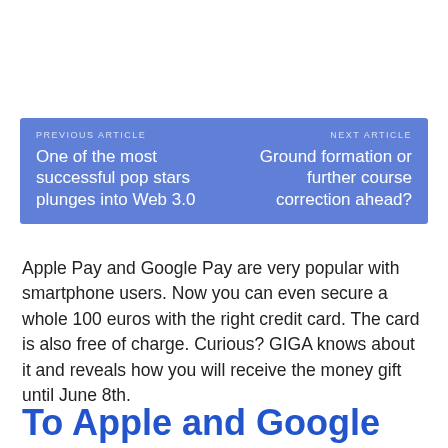[Figure (other): Navigation box with previous and next article links on a blue background. Previous: 'One of the most successful pop stars plunges into Web 3.0'. Next: 'Ground formation or further course correction ahead?']
Apple Pay and Google Pay are very popular with smartphone users. Now you can even secure a whole 100 euros with the right credit card. The card is also free of charge. Curious? GIGA knows about it and reveals how you will receive the money gift until June 8th.
To Apple and Google users: